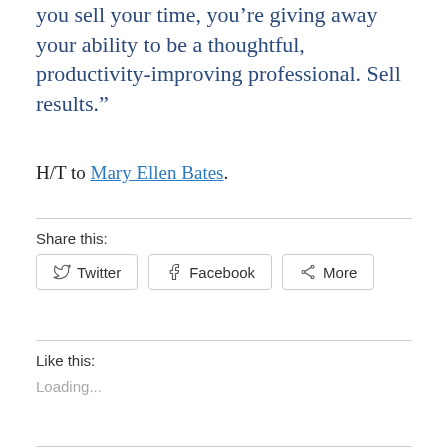you sell your time, you’re giving away your ability to be a thoughtful, productivity-improving professional. Sell results.”
H/T to Mary Ellen Bates.
Share this:
Twitter  Facebook  More
Like this:
Loading...